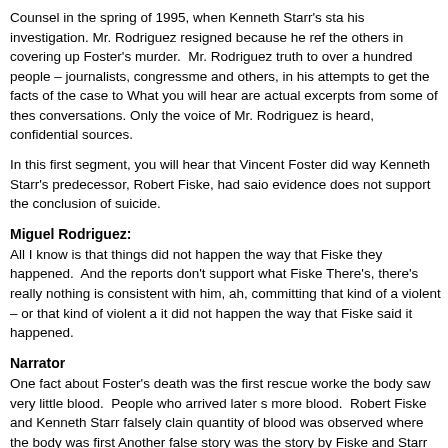Counsel in the spring of 1995, when Kenneth Starr's sta his investigation. Mr. Rodriguez resigned because he ref the others in covering up Foster's murder.  Mr. Rodriguez truth to over a hundred people – journalists, congressme and others, in his attempts to get the facts of the case to What you will hear are actual excerpts from some of thes conversations. Only the voice of Mr. Rodriguez is heard, confidential sources.
In this first segment, you will hear that Vincent Foster did way Kenneth Starr's predecessor, Robert Fiske, had saio evidence does not support the conclusion of suicide.
Miguel Rodriguez:
All I know is that things did not happen the way that Fiske they happened.  And the reports don't support what Fiske There's, there's really nothing is consistent with him, ah, committing that kind of a violent – or that kind of violent a it did not happen the way that Fiske said it happened.
Narrator
One fact about Foster's death was the first rescue worke the body saw very little blood.  People who arrived later s more blood.  Robert Fiske and Kenneth Starr falsely clain quantity of blood was observed where the body was first Another false story was the story by Fiske and Starr was